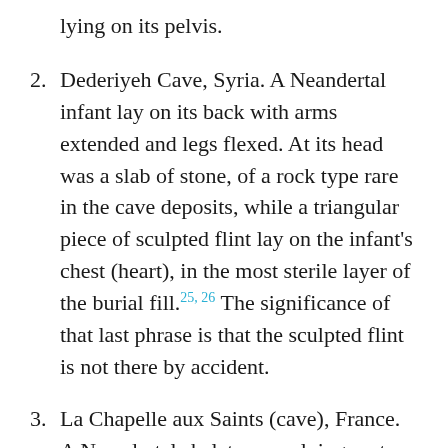lying on its pelvis.
Dederiyeh Cave, Syria. A Neandertal infant lay on its back with arms extended and legs flexed. At its head was a slab of stone, of a rock type rare in the cave deposits, while a triangular piece of sculpted flint lay on the infant's chest (heart), in the most sterile layer of the burial fill.25, 26 The significance of that last phrase is that the sculpted flint is not there by accident.
La Chapelle aux Saints (cave), France. A Neandertal skeleton was lying east-west (a common Neandertal orientation, and very